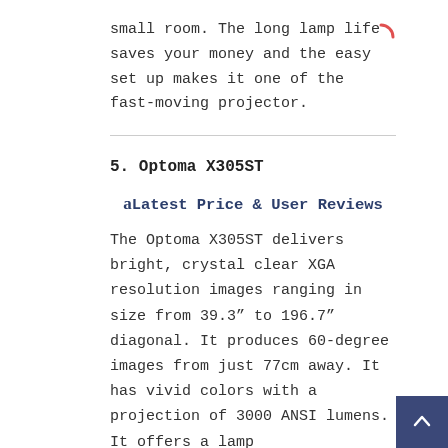small room. The long lamp life saves your money and the easy set up makes it one of the fast-moving projector.
5. Optoma X305ST
a Latest Price & User Reviews
The Optoma X305ST delivers bright, crystal clear XGA resolution images ranging in size from 39.3" to 196.7" diagonal. It produces 60-degree images from just 77cm away. It has vivid colors with a projection of 3000 ANSI lumens. It offers a lamp life up to 10000 hours and like X312 it...